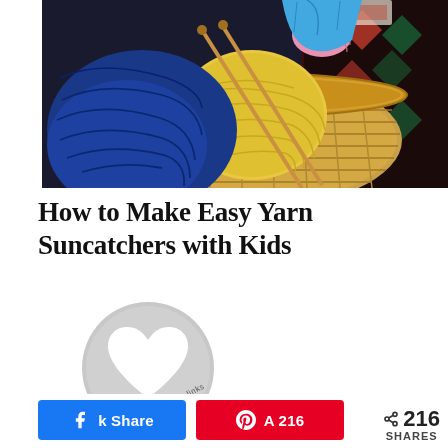[Figure (photo): Overhead view of a wicker basket filled with balls of yarn in blue and yellow colors, with knitting needles, on a dark patterned rug. A hand wearing a blue glove is visible at the top.]
How to Make Easy Yarn Suncatchers with Kids
[Figure (illustration): Circular gray avatar icon with a white heart shape in the center, used as an author profile placeholder. Partial watermark text is visible around the circle.]